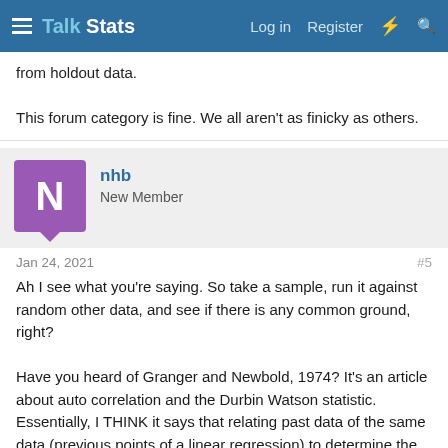Talk Stats — Log in  Register
from holdout data.

This forum category is fine. We all aren't as finicky as others.
nhb
New Member
Jan 24, 2021  #5
Ah I see what you're saying. So take a sample, run it against random other data, and see if there is any common ground, right?

Have you heard of Granger and Newbold, 1974? It's an article about auto correlation and the Durbin Watson statistic. Essentially, I THINK it says that relating past data of the same data (previous points of a linear regression) to determine the future of it can be flawed and skewed, But I am not knowledge in this enough to know better. I will read up more about it